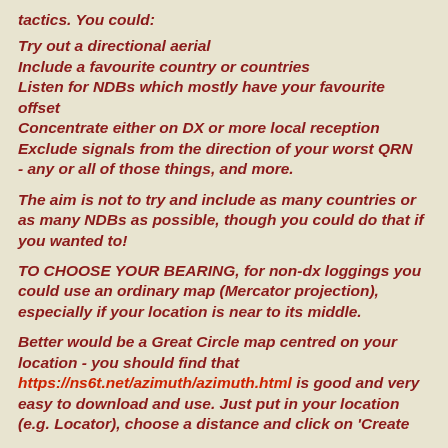tactics. You could:
Try out a directional aerial
Include a favourite country or countries
Listen for NDBs which mostly have your favourite offset
Concentrate either on DX or more local reception
Exclude signals from the direction of your worst QRN
- any or all of those things, and more.
The aim is not to try and include as many countries or as many NDBs as possible, though you could do that if you wanted to!
TO CHOOSE YOUR BEARING, for non-dx loggings you could use an ordinary map (Mercator projection), especially if your location is near to its middle.
Better would be a Great Circle map centred on your location - you should find that https://ns6t.net/azimuth/azimuth.html is good and very easy to download and use. Just put in your location (e.g. Locator), choose a distance and click on 'Create